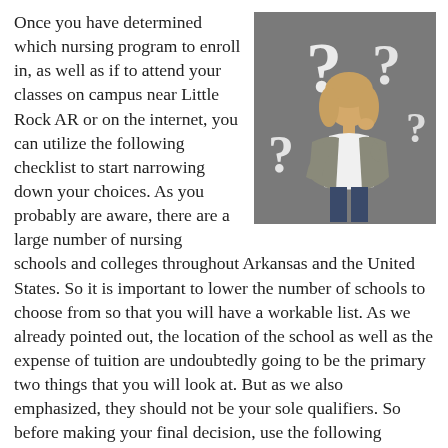Once you have determined which nursing program to enroll in, as well as if to attend your classes on campus near Little Rock AR or on the internet, you can utilize the following checklist to start narrowing down your choices. As you probably are aware, there are a large number of nursing schools and colleges throughout Arkansas and the United States. So it is important to lower the number of schools to choose from so that you will have a workable list. As we already pointed out, the location of the school as well as the expense of tuition are undoubtedly going to be the primary two things that you will look at. But as we also emphasized, they should not be your sole qualifiers. So before making your final decision, use the following questions to see how
[Figure (photo): A woman with blonde hair wearing a gray blazer and white shirt standing with one hand on hip and one near her chin in a thinking pose, surrounded by large white question marks on a gray background.]